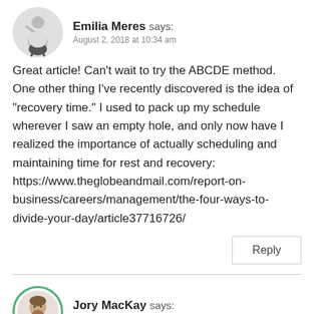Emilia Meres says:
August 2, 2018 at 10:34 am
Great article! Can't wait to try the ABCDE method. One other thing I've recently discovered is the idea of “recovery time.” I used to pack up my schedule wherever I saw an empty hole, and only now have I realized the importance of actually scheduling and maintaining time for rest and recovery: https://www.theglobeandmail.com/report-on-business/careers/management/the-four-ways-to-divide-your-day/article37716726/
Reply
Jory MacKay says:
August 2, 2018 at 10:46 am
That’s a great point Emilia! I definitely agree that downtime is an important part of making any decision (and having good